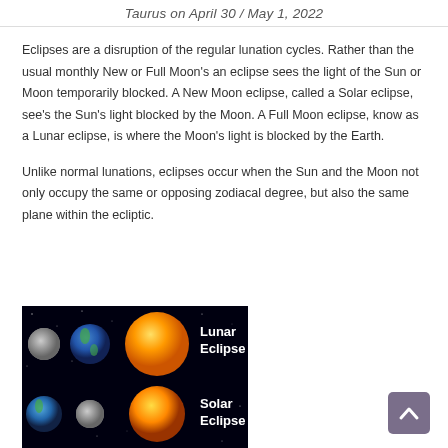Taurus on April 30 / May 1, 2022
Eclipses are a disruption of the regular lunation cycles. Rather than the usual monthly New or Full Moon's an eclipse sees the light of the Sun or Moon temporarily blocked. A New Moon eclipse, called a Solar eclipse, see's the Sun's light blocked by the Moon. A Full Moon eclipse, know as a Lunar eclipse, is where the Moon's light is blocked by the Earth.
Unlike normal lunations, eclipses occur when the Sun and the Moon not only occupy the same or opposing zodiacal degree, but also the same plane within the ecliptic.
[Figure (illustration): Illustration on black background showing the arrangement of celestial bodies for Lunar Eclipse (Moon, Earth, Sun) and Solar Eclipse (Earth, Moon, Sun) with white labels]